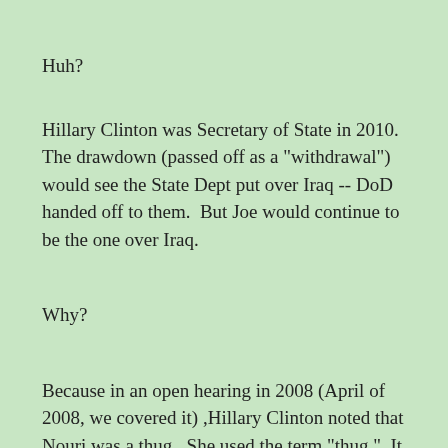Huh?
Hillary Clinton was Secretary of State in 2010.  The drawdown (passed off as a "withdrawal") would see the State Dept put over Iraq -- DoD handed off to them.  But Joe would continue to be the one over Iraq.
Why?
Because in an open hearing in 2008 (April of 2008, we covered it) ,Hillary Clinton noted that Nouri was a thug.  She used the term "thug."  It was an accurate description.  But it was a very well covered hearing, the press was out